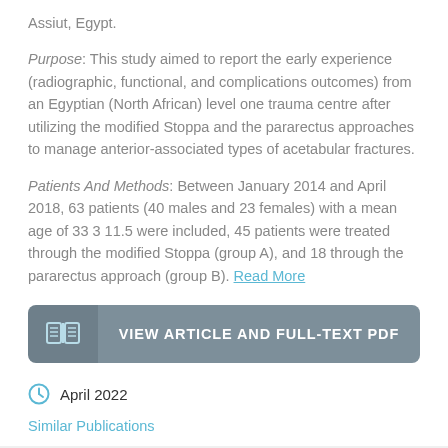Assiut, Egypt. Purpose: This study aimed to report the early experience (radiographic, functional, and complications outcomes) from an Egyptian (North African) level one trauma centre after utilizing the modified Stoppa and the pararectus approaches to manage anterior-associated types of acetabular fractures.
Patients And Methods: Between January 2014 and April 2018, 63 patients (40 males and 23 females) with a mean age of 33 3 11.5 were included, 45 patients were treated through the modified Stoppa (group A), and 18 through the pararectus approach (group B). Read More
[Figure (other): Dark grey button with book/PDF icon on left and text 'VIEW ARTICLE AND FULL-TEXT PDF']
April 2022
Similar Publications